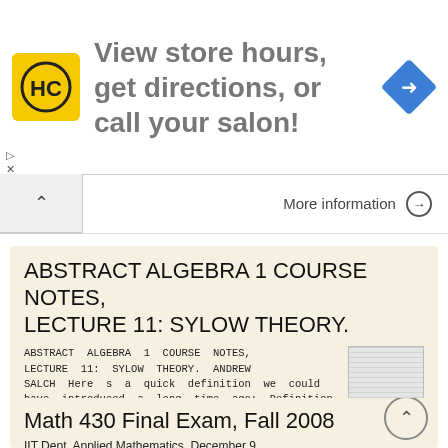[Figure (screenshot): Ad banner: HC logo (yellow/black), text 'View store hours, get directions, or call your salon!', navigation icon (blue diamond with arrow)]
More information →
ABSTRACT ALGEBRA 1 COURSE NOTES, LECTURE 11: SYLOW THEORY.
ABSTRACT ALGEBRA 1 COURSE NOTES, LECTURE 11: SYLOW THEORY. ANDREW SALCH Here s a quick definition we could have introduced a long time ago: Definition 0.1. If n is a positive integer, we often write C
More information →
Math 430 Final Exam, Fall 2008
IIT Dept. Applied Mathematics, December 9,